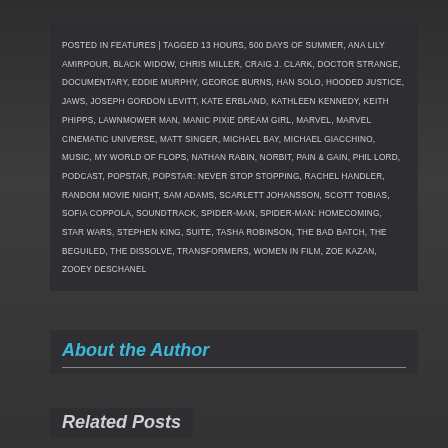POSTED IN FEATURES | TAGGED 13 HOURS, 500 DAYS OF SUMMER, ANA LILY AMIRPOUR, BLACK WIDOW, CHRIS MILLER, CRAIG J. CLARK, DOCTOR STRANGE, DOCUMENTARY, EDDIE MURPHY, GEORGE BURNS, HAN SOLO, HOODED JUSTICE, JAWS, JOSEPH GORDON LEVITT, KATE ERBLAND, KATHLEEN KENNEDY, KEITH PHIPPS, LAWNMOWER MAN, MANIC PIXIE DREAM GIRL, MARVEL, MARVEL CINEMATIC UNIVERSE, MATT SINGER, MICHAEL BAY, MICHAEL GIACCHINO, MUSIC, MY WORLD OF FLOPS, NATHAN RABIN, NORBIT, PAIN & GAIN, PHIL LORD, PODCAST, POPSTAR, POPSTAR: NEVER STOP STOPPING, RACHEL HANDLER, RANDOM MOVIE NIGHT, SAM ADAMS, SCARLETT JOHANSSON, SCOTT TOBIAS, SOFIA COPPOLA, SOUNDTRACK, SPIDER-MAN, SPIDER-MAN: HOMECOMING, STAR WARS, STEPHEN KING, SUITE, TASHA ROBINSON, THE BAD BATCH, THE BEGUILED, THE DISSOLVE, TRANSFORMERS, WOMEN IN FILM, ZOE KAZAN, ZOOEY DESCHANEL
About the Author
Related Posts